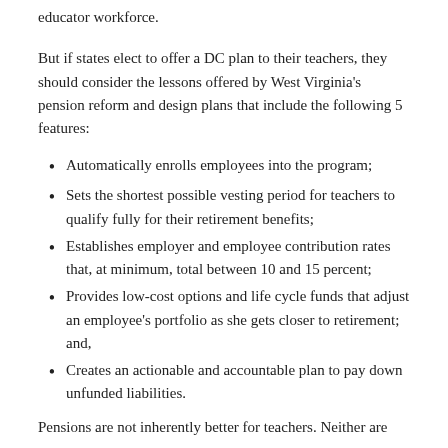educator workforce.
But if states elect to offer a DC plan to their teachers, they should consider the lessons offered by West Virginia's pension reform and design plans that include the following 5 features:
Automatically enrolls employees into the program;
Sets the shortest possible vesting period for teachers to qualify fully for their retirement benefits;
Establishes employer and employee contribution rates that, at minimum, total between 10 and 15 percent;
Provides low-cost options and life cycle funds that adjust an employee's portfolio as she gets closer to retirement; and,
Creates an actionable and accountable plan to pay down unfunded liabilities.
Pensions are not inherently better for teachers. Neither are